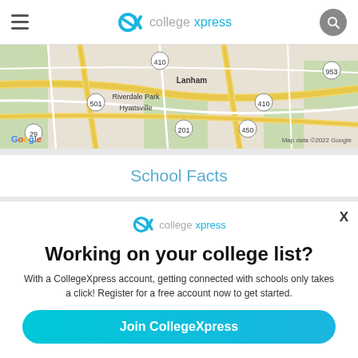collegexpress navigation bar
[Figure (map): Google Maps image showing Riverdale Park, Hyattsville, Lanham area with roads and route numbers 410, 501, 201, 450, 953, 29. Map data ©2022 Google.]
School Facts
[Figure (logo): CollegeXpress logo - CX icon with 'college' in grey and 'xpress' in teal/cyan]
Working on your college list?
With a CollegeXpress account, getting connected with schools only takes a click! Register for a free account now to get started.
Join CollegeXpress